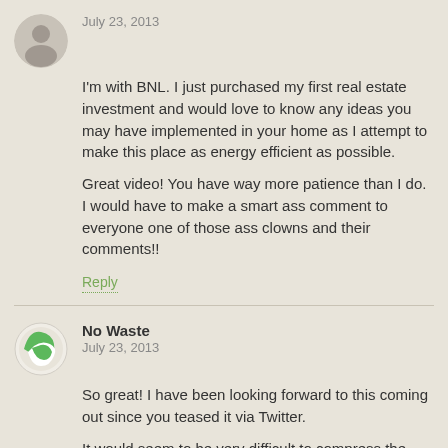July 23, 2013
I'm with BNL. I just purchased my first real estate investment and would love to know any ideas you may have implemented in your home as I attempt to make this place as energy efficient as possible.

Great video! You have way more patience than I do. I would have to make a smart ass comment to everyone one of those ass clowns and their comments!!
Reply
No Waste
July 23, 2013
So great! I have been looking forward to this coming out since you teased it via Twitter.

It would seem to be very difficult to compress the mustachian ways into a four minute vignette but I thought they did a nice job.

Did you have any editorial control over the final product?
Reply